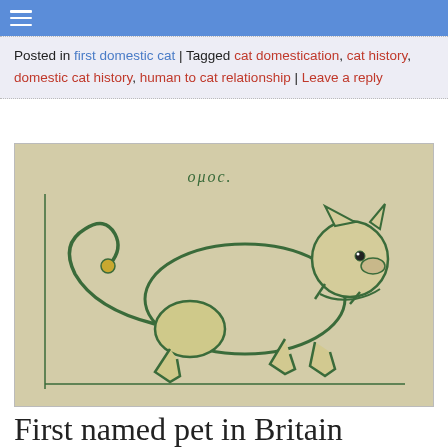☰
Posted in first domestic cat | Tagged cat domestication, cat history, domestic cat history, human to cat relationship | Leave a reply
[Figure (illustration): Medieval manuscript illustration of a cat drawn in green ink on parchment-colored background, with text in old script above it. The cat is depicted in a stylized, primitive medieval style, facing right.]
First named pet in Britain